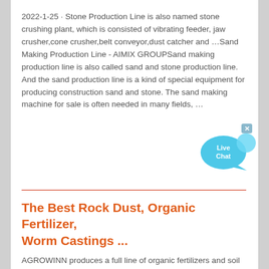2022-1-25 · Stone Production Line is also named stone crushing plant, which is consisted of vibrating feeder, jaw crusher,cone crusher,belt conveyor,dust catcher and …Sand Making Production Line - AIMIX GROUPSand making production line is also called sand and stone production line. And the sand production line is a kind of special equipment for producing construction sand and stone. The sand making machine for sale is often needed in many fields, …
[Figure (other): Live Chat speech bubble widget button in cyan/blue color with 'Live Chat' text and a close X button]
The Best Rock Dust, Organic Fertilizer, Worm Castings ...
AGROWINN produces a full line of organic fertilizers and soil amendments, for all your gardening needs. Rock Dust-- aka Rock Powder or Stonemeal (Stone meal). Worm Castings, aka Earth